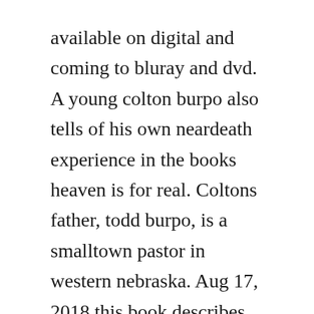available on digital and coming to bluray and dvd. A young colton burpo also tells of his own neardeath experience in the books heaven is for real. Coltons father, todd burpo, is a smalltown pastor in western nebraska. Aug 17, 2018 this book describes the miraculous story of a threeyearold boys seemingly real trip to heaven and back.
The movie, like the book, proposes that, during surgery, young colton who never died on the operating table somehow visited heaven, proving that the afterlife. Sonja and